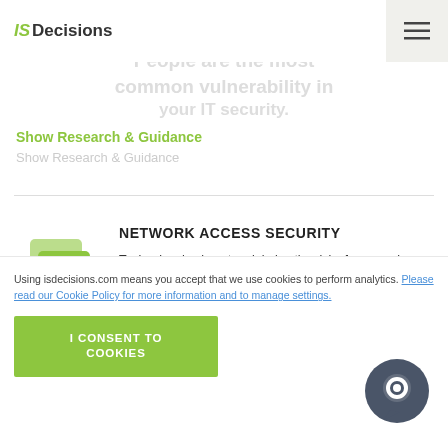IS Decisions
Show Research & Guidance
NETWORK ACCESS SECURITY
[Figure (illustration): Green icon of a card/hand representing network access security]
Technology's place to minimize the risks from employees and decrease the surface area vulnerable to attack.
Show Research & Guidance
Using isdecisions.com means you accept that we use cookies to perform analytics. Please read our Cookie Policy for more information and to manage settings.
I CONSENT TO COOKIES